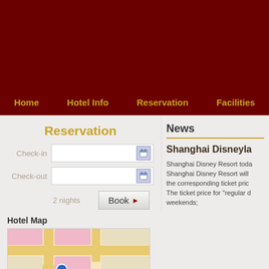Home
Hotel Info
Reservation
Facilities
Reservation
Check-in
Check-out
2 nights
Hotel Map
[Figure (map): Street map showing hotel location with a blue pin marker]
News
Shanghai Disneyla
Shanghai Disney Resort toda Shanghai Disney Resort will the corresponding ticket pric The ticket price for "regular d weekends;